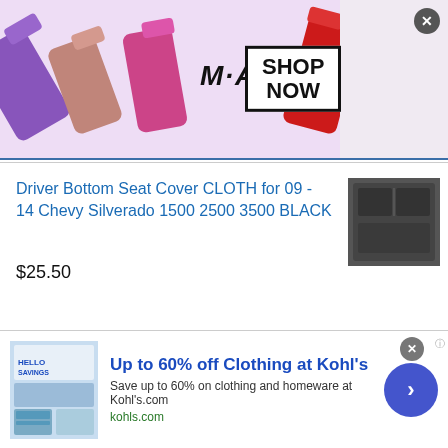[Figure (screenshot): MAC cosmetics advertisement banner with lipsticks and SHOP NOW button]
Driver Bottom Seat Cover CLOTH for 09 - 14 Chevy Silverado 1500 2500 3500 BLACK
$25.50
[Figure (photo): Black cloth car seat cover product photo]
NRG INNOVATIONS SBR-001 UNIVERSAL DUAL
[Figure (logo): NRG Innovations logo on black background]
[Figure (screenshot): Kohl's advertisement - Up to 60% off Clothing at Kohl's]
Up to 60% off Clothing at Kohl's
Save up to 60% on clothing and homeware at Kohl's.com
kohls.com